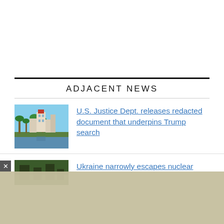ADJACENT NEWS
U.S. Justice Dept. releases redacted document that underpins Trump search
Ukraine narrowly escapes nuclear